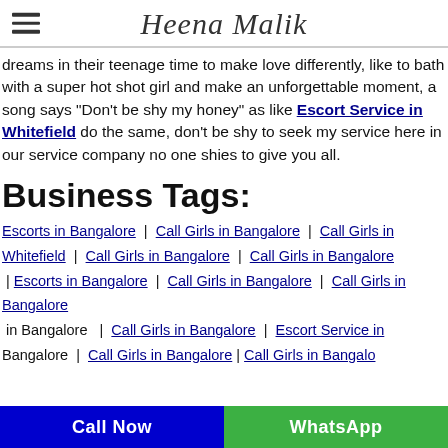Heena Malik
dreams in their teenage time to make love differently, like to bath with a super hot shot girl and make an unforgettable moment, a song says "Don't be shy my honey" as like Escort Service in Whitefield do the same, don't be shy to seek my service here in our service company no one shies to give you all.
Business Tags:
Escorts in Bangalore | Call Girls in Bangalore | Call Girls in Whitefield | Call Girls in Bangalore | Call Girls in Bangalore | Escorts in Bangalore | Call Girls in Bangalore | Call Girls in Bangalore | Call Girls in Bangalore | Escort Service in Bangalore | Call Girls in Bangalore | Call Girls in Bangalore
Call Now | WhatsApp